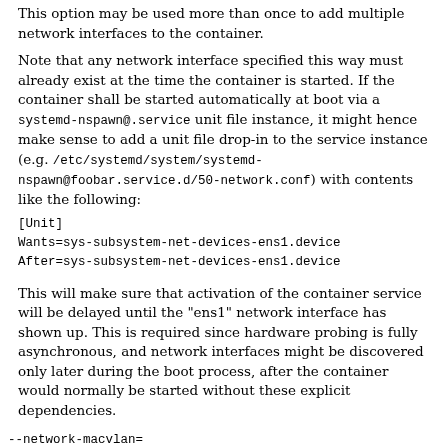This option may be used more than once to add multiple network interfaces to the container.
Note that any network interface specified this way must already exist at the time the container is started. If the container shall be started automatically at boot via a systemd-nspawn@.service unit file instance, it might hence make sense to add a unit file drop-in to the service instance (e.g. /etc/systemd/system/systemd-nspawn@foobar.service.d/50-network.conf) with contents like the following:
[Unit]
Wants=sys-subsystem-net-devices-ens1.device
After=sys-subsystem-net-devices-ens1.device
This will make sure that activation of the container service will be delayed until the "ens1" network interface has shown up. This is required since hardware probing is fully asynchronous, and network interfaces might be discovered only later during the boot process, after the container would normally be started without these explicit dependencies.
--network-macvlan=
Create a "macvlan" interface of the specified Ethernet network interface and add it to the container. A "macvlan"